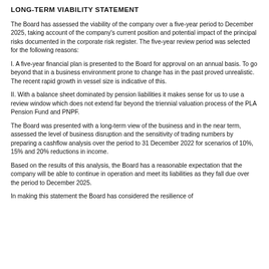LONG-TERM VIABILITY STATEMENT
The Board has assessed the viability of the company over a five-year period to December 2025, taking account of the company's current position and potential impact of the principal risks documented in the corporate risk register. The five-year review period was selected for the following reasons:
I. A five-year financial plan is presented to the Board for approval on an annual basis. To go beyond that in a business environment prone to change has in the past proved unrealistic. The recent rapid growth in vessel size is indicative of this.
II. With a balance sheet dominated by pension liabilities it makes sense for us to use a review window which does not extend far beyond the triennial valuation process of the PLA Pension Fund and PNPF.
The Board was presented with a long-term view of the business and in the near term, assessed the level of business disruption and the sensitivity of trading numbers by preparing a cashflow analysis over the period to 31 December 2022 for scenarios of 10%, 15% and 20% reductions in income.
Based on the results of this analysis, the Board has a reasonable expectation that the company will be able to continue in operation and meet its liabilities as they fall due over the period to December 2025.
In making this statement the Board has considered the resilience of